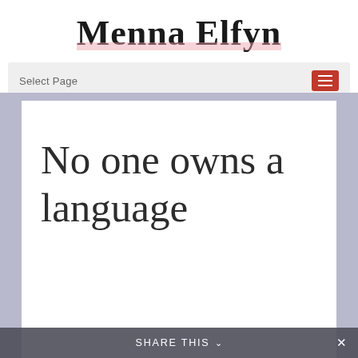Menna Elfyn
Select Page
No one owns a language
Share This